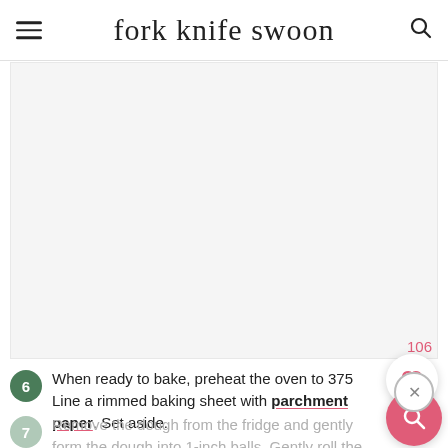fork knife swoon
[Figure (photo): Blank/white image area placeholder for a recipe photo]
When ready to bake, preheat the oven to 375. Line a rimmed baking sheet with parchment paper. Set aside.
Remove the dough from the fridge and gently form the dough into 1-inch balls. Gently roll the